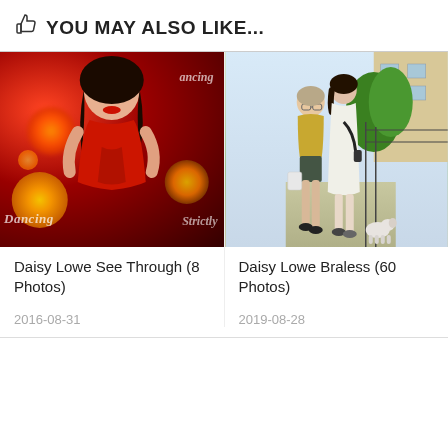👍 YOU MAY ALSO LIKE...
[Figure (photo): Photo of Daisy Lowe in a red dress at a Strictly Come Dancing event, dark background with red stars]
[Figure (photo): Photo of two women walking on a street with a small dog, one in shorts and yellow top, one in white dress]
Daisy Lowe See Through (8 Photos)
Daisy Lowe Braless (60 Photos)
2016-08-31
2019-08-28